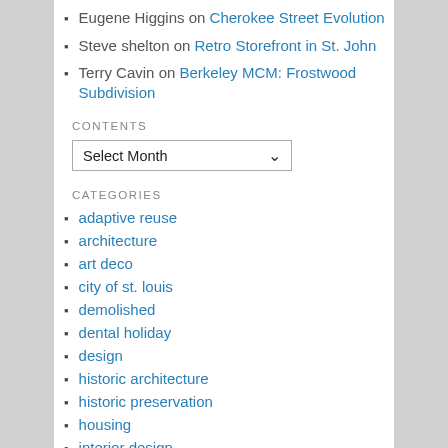Eugene Higgins on Cherokee Street Evolution
Steve shelton on Retro Storefront in St. John
Terry Cavin on Berkeley MCM: Frostwood Subdivision
CONTENTS
Select Month
CATEGORIES
adaptive reuse
architecture
art deco
city of st. louis
demolished
dental holiday
design
historic architecture
historic preservation
housing
interior design
lustron